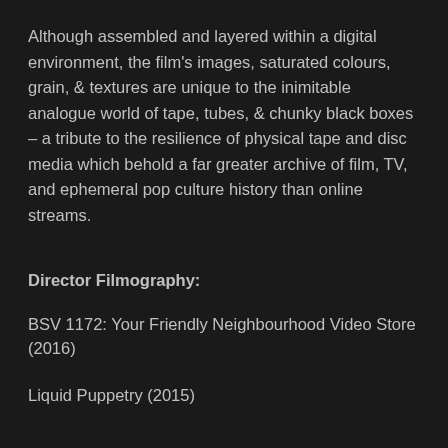Although assembled and layered within a digital environment, the film's images, saturated colours, grain, & textures are unique to the inimitable analogue world of tape, tubes, & chunky black boxes – a tribute to the resilience of physical tape and disc media which behold a far greater archive of film, TV, and ephemeral pop culture history than online streams.
Director Filmography:
BSV 1172: Your Friendly Neighbourhood Video Store (2016)
Liquid Puppetry (2015)